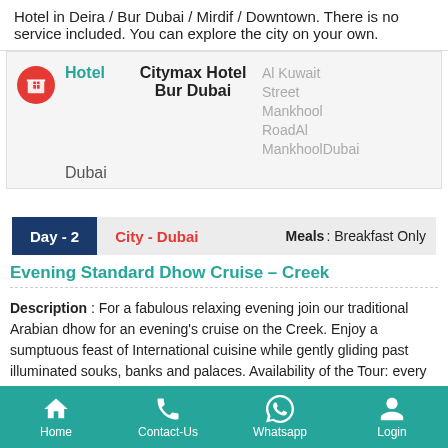Hotel in Deira / Bur Dubai / Mirdif / Downtown. There is no service included. You can explore the city on your own.
Hotel | Citymax Hotel Bur Dubai | Al Kuwait Street Mankhool RoadAl MankhoolDubai | Dubai
Day - 2 | City - Dubai | Meals : Breakfast Only
Evening Standard Dhow Cruise – Creek
Description : For a fabulous relaxing evening join our traditional Arabian dhow for an evening's cruise on the Creek. Enjoy a sumptuous feast of International cuisine while gently gliding past illuminated souks, banks and palaces. Availability of the Tour: every day from 18.30hrs to 22.30hrs...
Home | Contact-Us | Whatsapp | Login